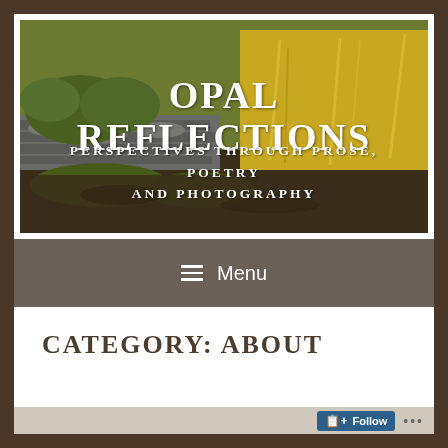[Figure (photo): Outdoor garden/nature scene with stone wall, ornamental grasses and foliage, serving as website header background image with overlaid text 'OPAL REFLECTIONS' and subtitle 'PERSPECTIVES THROUGH PROSE, POETRY AND PHOTOGRAPHY']
OPAL REFLECTIONS
PERSPECTIVES THROUGH PROSE, POETRY AND PHOTOGRAPHY
☰ Menu
CATEGORY: ABOUT
Follow ...